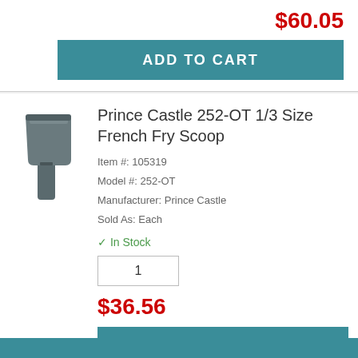$60.05
ADD TO CART
[Figure (photo): Photo of Prince Castle 252-OT 1/3 Size French Fry Scoop, a dark grey plastic scoop tool]
Prince Castle 252-OT 1/3 Size French Fry Scoop
Item #: 105319
Model #: 252-OT
Manufacturer: Prince Castle
Sold As: Each
✓ In Stock
1
$36.56
ADD TO CART